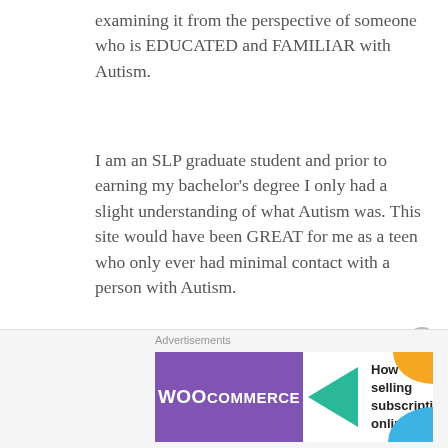examining it from the perspective of someone who is EDUCATED and FAMILIAR with Autism.
I am an SLP graduate student and prior to earning my bachelor's degree I only had a slight understanding of what Autism was. This site would have been GREAT for me as a teen who only ever had minimal contact with a person with Autism.
As for referring to “autistic children” as “children with Autism” or “Thomas has Autism”...They are using the correct,
Advertisements
[Figure (other): WooCommerce advertisement banner: purple WooCommerce logo on left with teal arrow, text 'How to start selling subscriptions online' on right with orange and blue decorative shapes]